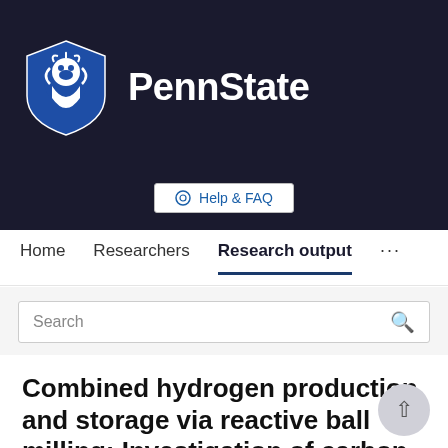[Figure (logo): Penn State University logo with lion shield and PennState wordmark on dark navy background]
Help & FAQ
Home   Researchers   Research output   ...
Search
Combined hydrogen production and storage via reactive ball milling: Investigation of carbon structure for hydrogen capture